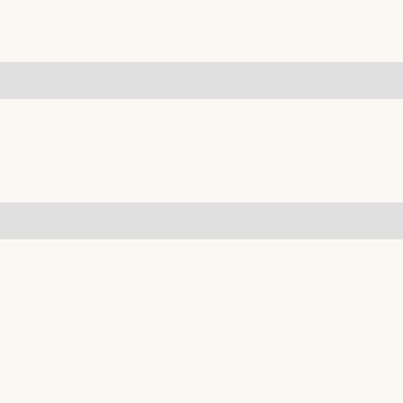S. Abiteboul, Greenspan, G., Mi... Proc. of International Conference...
E
S. Abiteboul, Bourhis, P., and Mar... "documents", in Proc. of Interna... 1087. Google Scholar BibTe...
D
S. Abiteboul, Marinoiu, B., and Bo... in Proc. of International Conferen...
S. Abiteboul, Bienvenu, M., Galla... - First International Workshop, Da... pp. 252-261. Google Scholar
M. Bienvenu, Deutch, D., and Abi... Proc. of International Workshop o...
C